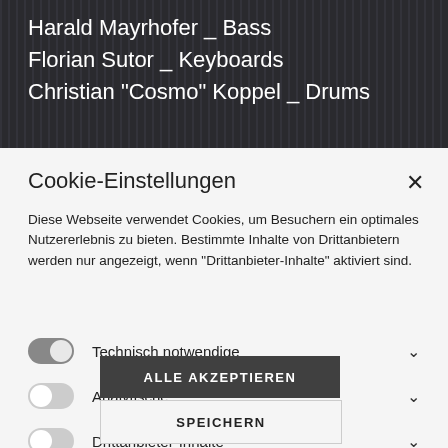Harald Mayrhofer _ Bass
Florian Sutor _ Keyboards
Christian "Cosmo" Koppel _ Drums
Cookie-Einstellungen
Diese Webseite verwendet Cookies, um Besuchern ein optimales Nutzererlebnis zu bieten. Bestimmte Inhalte von Drittanbietern werden nur angezeigt, wenn "Drittanbieter-Inhalte" aktiviert sind.
Technisch notwendige
Analytische
Drittanbieter-Inhalte
ALLE AKZEPTIEREN
SPEICHERN